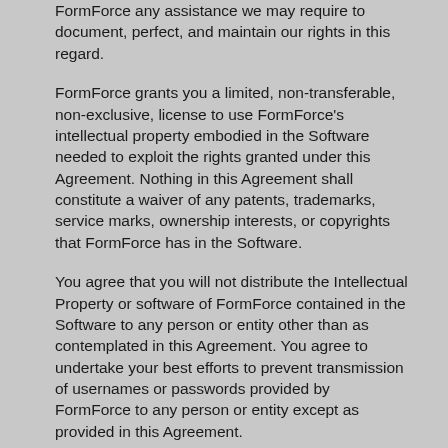FormForce any assistance we may require to document, perfect, and maintain our rights in this regard.
FormForce grants you a limited, non-transferable, non-exclusive, license to use FormForce's intellectual property embodied in the Software needed to exploit the rights granted under this Agreement. Nothing in this Agreement shall constitute a waiver of any patents, trademarks, service marks, ownership interests, or copyrights that FormForce has in the Software.
You agree that you will not distribute the Intellectual Property or software of FormForce contained in the Software to any person or entity other than as contemplated in this Agreement. You agree to undertake your best efforts to prevent transmission of usernames or passwords provided by FormForce to any person or entity except as provided in this Agreement.